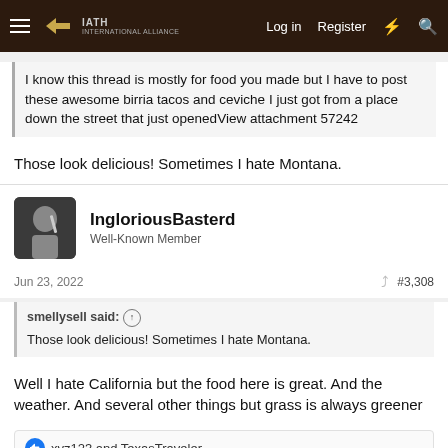Log in  Register
I know this thread is mostly for food you made but I have to post these awesome birria tacos and ceviche I just got from a place down the street that just openedView attachment 57242
Those look delicious! Sometimes I hate Montana.
IngloriousBasterd
Well-Known Member
Jun 23, 2022  #3,308
smellysell said: ↑
Those look delicious! Sometimes I hate Montana.
Well I hate California but the food here is great. And the weather. And several other things but grass is always greener
xyz123 and TexasTraveler